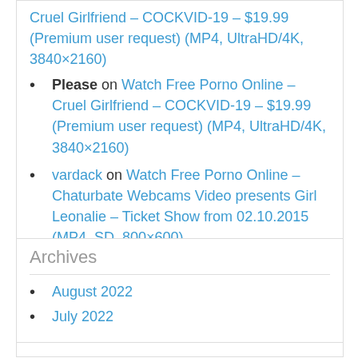Please on Watch Free Porno Online – Cruel Girlfriend – COCKVID-19 – $19.99 (Premium user request) (MP4, UltraHD/4K, 3840×2160)
vardack on Watch Free Porno Online – Chaturbate Webcams Video presents Girl Leonalie – Ticket Show from 02.10.2015 (MP4, SD, 800×600)
tom on Watch Free Porno Online – StripzVR presents Jizzles in Heaven – Shaved Petite Solo Model (MP4, UltraHD/2K, 4096×2048)
Archives
August 2022
July 2022